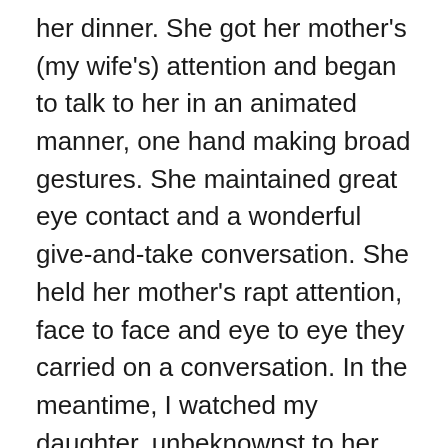her dinner. She got her mother's (my wife's) attention and began to talk to her in an animated manner, one hand making broad gestures. She maintained great eye contact and a wonderful give-and-take conversation. She held her mother's rapt attention, face to face and eye to eye they carried on a conversation. In the meantime, I watched my daughter, unbeknownst to her mother, use her free hand to carefully remove pieces of meat from her dinner plate and deposit them under the table. We had to discipline her. She can't go through life deceiving the authorities in her life in order to avoid tasks she did not like (I know, a little melodramatic). At the same time, I have to admit to a bit of pride in her creative ability to do two things at one time (hold her mother's rapt attention and carefully get rid of